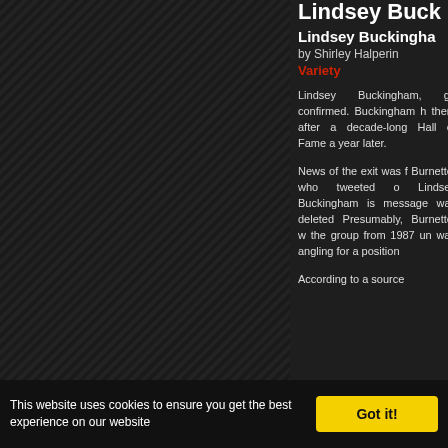Lindsey Buck
Lindsey Buckingha
by Shirley Halperin
Variety
Lindsey Buckingham, gu confirmed. Buckingham h then, after a decade-long Hall of Fame a year later.
News of the exit was f Burnette, who tweeted o Lindsey Buckingham is message was deleted Presumably, Burnette, w the group from 1987 un was angling for a position
According to a source
This website uses cookies to ensure you get the best experience on our website
Got it!